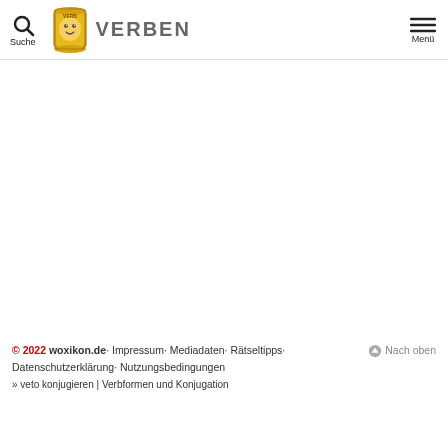Suche  VERBEN  Menü
© 2022 woxikon.de· Impressum· Mediadaten· Rätseltipps· Datenschutzerklärung· Nutzungsbedingungen
» veto konjugieren | Verbformen und Konjugation
⊙ Nach oben